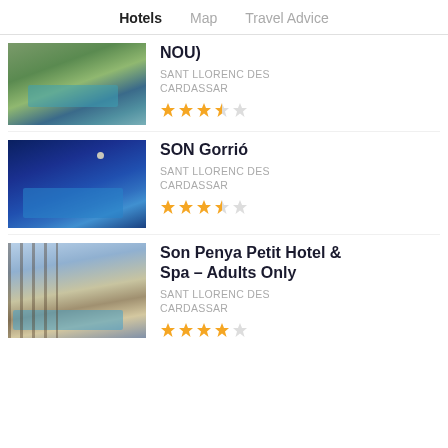Hotels  Map  Travel Advice
NOU)
SANT LLORENC DES CARDASSAR
[Figure (photo): Outdoor pool at a rural villa with green trees and garden in daylight]
SON Gorrió
SANT LLORENC DES CARDASSAR
[Figure (photo): Illuminated outdoor pool at night with blue sky and moon]
Son Penya Petit Hotel & Spa – Adults Only
SANT LLORENC DES CARDASSAR
[Figure (photo): Stone villa exterior with pergola terrace and small pool in daylight]